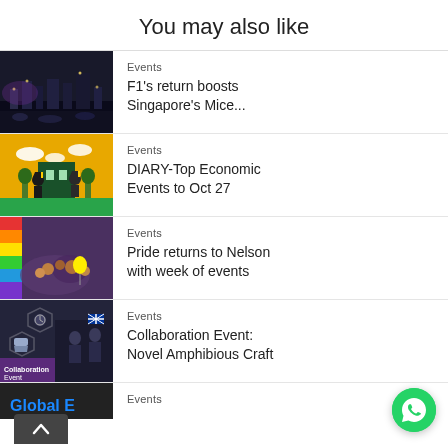You may also like
Events
F1's return boosts Singapore's Mice...
Events
DIARY-Top Economic Events to Oct 27
Events
Pride returns to Nelson with week of events
Events
Collaboration Event: Novel Amphibious Craft
Events